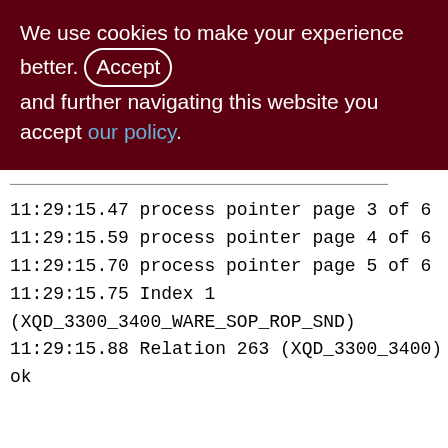We use cookies to make your experience better. By accepting and further navigating this website you accept our policy.
11:29:15.47 process pointer page 3 of 6
11:29:15.59 process pointer page 4 of 6
11:29:15.70 process pointer page 5 of 6
11:29:15.75 Index 1 (XQD_3300_3400_WARE_SOP_ROP_SND)
11:29:15.88 Relation 263 (XQD_3300_3400) is ok

11:29:15.88 Relation 264 (XQS_1000_1200)
11:29:15.88 process pointer page 0 of _
11:29:15.94 process pointer page 1 of 8
11:29:16.03 process pointer page 2 of 8